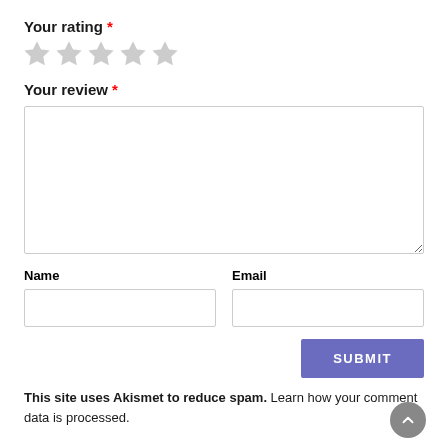Your rating *
[Figure (other): Five empty star icons for rating input]
Your review *
Textarea input box for review
Name
Email
SUBMIT button
This site uses Akismet to reduce spam. Learn how your comment data is processed.